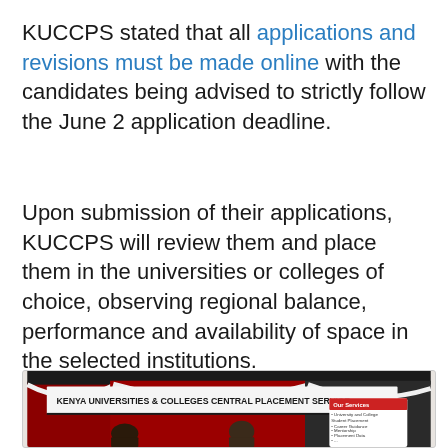KUCCPS stated that all applications and revisions must be made online with the candidates being advised to strictly follow the June 2 application deadline.
Upon submission of their applications, KUCCPS will review them and place them in the universities or colleges of choice, observing regional balance, performance and availability of space in the selected institutions.
[Figure (photo): Photo of a KUCCPS (Kenya Universities & Colleges Central Placement Service) booth with a banner sign reading 'KENYA UNIVERSITIES & COLLEGES CENTRAL PLACEMENT SERVICE', red and black draped curtains in the background, two people standing at the booth, and a rollup banner on the right showing 'Our Services' including University and College Student Placement, Career Guidance, Mentorship, Placement Data, and more.]